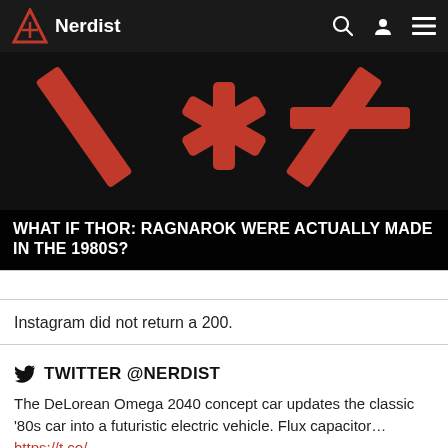Nerdist
[Figure (screenshot): Hero image with red stylized asterisk/star logo on black background]
WHAT IF THOR: RAGNAROK WERE ACTUALLY MADE IN THE 1980S?
Instagram did not return a 200.
TWITTER @NERDIST
The DeLorean Omega 2040 concept car updates the classic '80s car into a futuristic electric vehicle. Flux capacitor... https://...